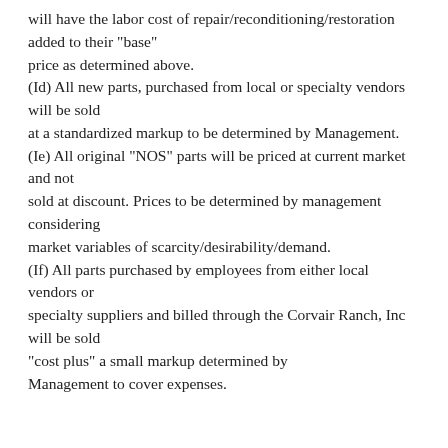will have the labor cost of repair/reconditioning/restoration added to their "base" price as determined above. (Id) All new parts, purchased from local or specialty vendors will be sold at a standardized markup to be determined by Management. (Ie) All original "NOS" parts will be priced at current market and not sold at discount. Prices to be determined by management considering market variables of scarcity/desirability/demand. (If) All parts purchased by employees from either local vendors or specialty suppliers and billed through the Corvair Ranch, Inc will be sold "cost plus" a small markup determined by Management to cover expenses.